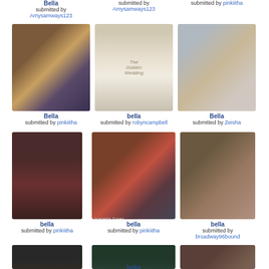[Figure (photo): Partial top row - three image items with titles and submitter names partially visible at top]
Bella
submitted by Amysamways123
submitted by Amysamways123
submitted by pinkiitha
[Figure (photo): Collage of woman's face split into triangular sections, dark hair]
[Figure (photo): Book cover - The Golden Wedding, woman in white wedding dress outdoors]
[Figure (photo): Young woman with long brown hair in period costume holding wand/stick]
Bella
submitted by pinkiitha
bella
submitted by robyncampbell
Bella
submitted by Zeisha
[Figure (photo): Woman lying down in dark reddish lighting, holding a photo]
[Figure (photo): Isabella Swan book/poster - red-haired woman in gray outfit, text says Isabella Swan]
[Figure (photo): Young woman sitting cross-legged in black outfit, light background]
bella
submitted by pinkiitha
bella
submitted by pinkiitha
bella
submitted by broadway96bound
[Figure (photo): Woman with dark hair in dim indoor setting]
[Figure (photo): Close up of woman's face with greenish tint, dark dramatic lighting]
[Figure (photo): Two people together in warm brown tones]
bella